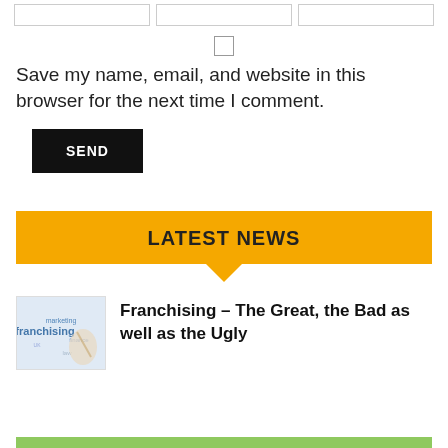[Figure (other): Three empty input boxes in a row (form fields)]
[Figure (other): Checkbox (unchecked)]
Save my name, email, and website in this browser for the next time I comment.
SEND
LATEST NEWS
Franchising – The Great, the Bad as well as the Ugly
[Figure (illustration): Franchising word cloud thumbnail with hand pointing]